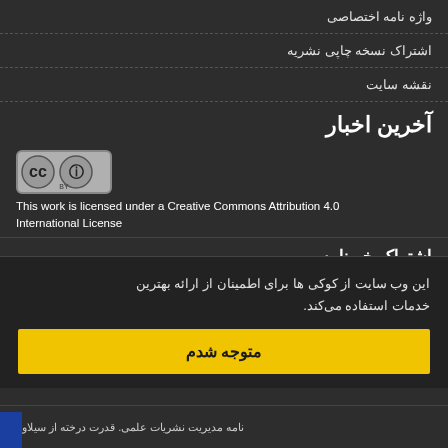واژه نامه اختصاصی
اشتراک نسخه چاپی نشریه
نقشه سایت
آخرین اخبار
[Figure (logo): Creative Commons BY license logo badge]
This work is licensed under a Creative Commons Attribution 4.0 International License
اشتراک خبرنامه
برای, دریافت اخبار و اطلاعه های, مهم نشر به در خبرنامه نشریه مشترک
اشتراک
این وب سایت از کوکی ها برای اطمینان از ارائه بهترین خدمات استفاده می‌کند.
متوجه شدم
نامه مدیریت نشریات علمی. قدرت درخته از سیلاوب